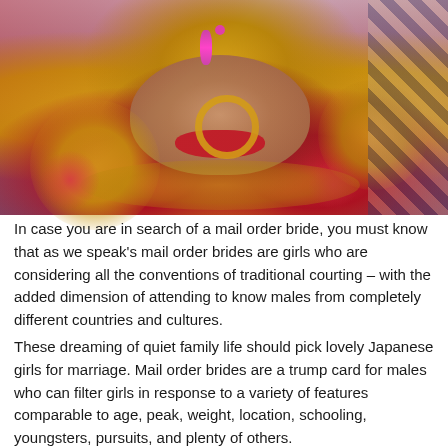[Figure (photo): Close-up photograph of a woman in traditional South Asian bridal attire, wearing elaborate gold jewelry including large hoop earrings and necklace, a nose ring, colorful gem-studded head ornament, red lips, and wrapped in red and colorful fabric/saree with decorative patterns.]
In case you are in search of a mail order bride, you must know that as we speak's mail order brides are girls who are considering all the conventions of traditional courting – with the added dimension of attending to know males from completely different countries and cultures.
These dreaming of quiet family life should pick lovely Japanese girls for marriage. Mail order brides are a trump card for males who can filter girls in response to a variety of features comparable to age, peak, weight, location, schooling, youngsters, pursuits, and plenty of others.
Chances are you'll meet a lady, who will respect any help however will never ask for it. Be attentive and help your Asian girl in difficult